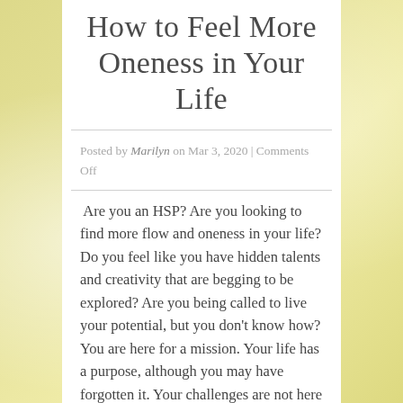How to Feel More Oneness in Your Life
Posted by Marilyn on Mar 3, 2020 | Comments Off
Are you an HSP? Are you looking to find more flow and oneness in your life? Do you feel like you have hidden talents and creativity that are begging to be explored? Are you being called to live your potential, but you don't know how? You are here for a mission. Your life has a purpose, although you may have forgotten it. Your challenges are not here to take